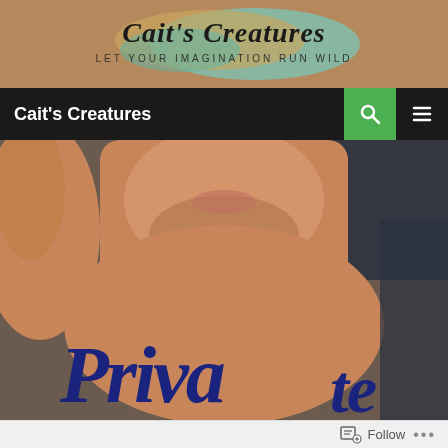[Figure (logo): Cait's Creatures blog header banner with handwritten script logo and subtitle 'LET YOUR IMAGINATION RUN WILD' on a sandy/teal watercolor background]
Cait's Creatures
[Figure (photo): Close-up photo of a shirtless man's chest and lower face (mouth and chin visible), with blue script text overlay on the chest reading part of a word (book cover image)]
Follow